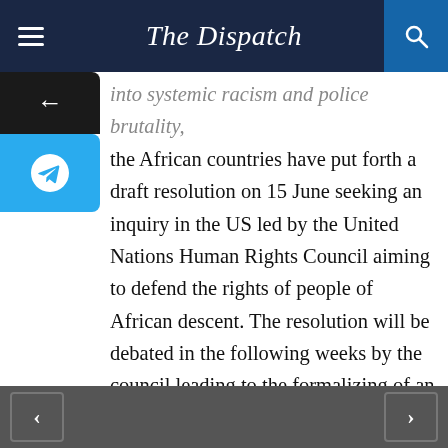The Dispatch
into systemic racism and police brutality, the African countries have put forth a draft resolution on 15 June seeking an inquiry in the US led by the United Nations Human Rights Council aiming to defend the rights of people of African descent. The resolution will be debated in the following weeks by the council leading to the formalizing of an enquiry body to look into the events, causes and consequences of racisms that have flared severe protest in the US.